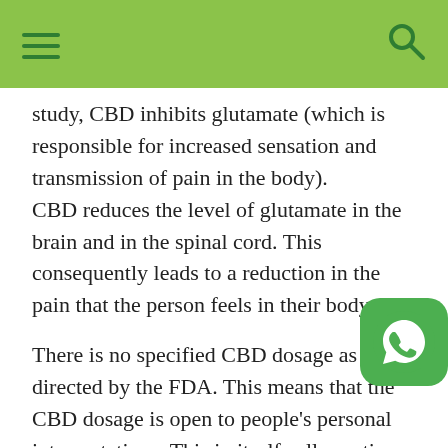study, CBD inhibits glutamate (which is responsible for increased sensation and transmission of pain in the body).
CBD reduces the level of glutamate in the brain and in the spinal cord. This consequently leads to a reduction in the pain that the person feels in their body.
There is no specified CBD dosage as directed by the FDA. This means that the CBD dosage is open to people's personal interpretations. This in itself calls caution. So anyone who wants to use CBD has to sp to their doctor first. Let the doctor advise you on if it's a good idea for you or not. Ask the doctor for what dosage to take if they give you the go-ahead to use CBD.